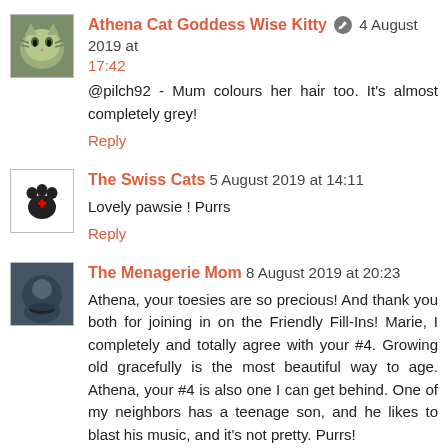Athena Cat Goddess Wise Kitty [edit icon] 4 August 2019 at 17:42
@pilch92 - Mum colours her hair too. It's almost completely grey!
Reply
The Swiss Cats 5 August 2019 at 14:11
Lovely pawsie ! Purrs
Reply
The Menagerie Mom 8 August 2019 at 20:23
Athena, your toesies are so precious! And thank you both for joining in on the Friendly Fill-Ins! Marie, I completely and totally agree with your #4. Growing old gracefully is the most beautiful way to age. Athena, your #4 is also one I can get behind. One of my neighbors has a teenage son, and he likes to blast his music, and it's not pretty. Purrs!